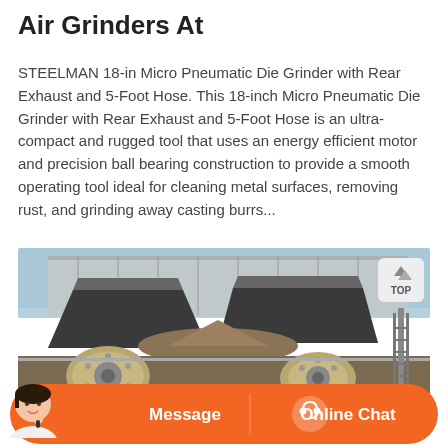Air Grinders At
STEELMAN 18-in Micro Pneumatic Die Grinder with Rear Exhaust and 5-Foot Hose. This 18-inch Micro Pneumatic Die Grinder with Rear Exhaust and 5-Foot Hose is an ultra-compact and rugged tool that uses an energy efficient motor and precision ball bearing construction to provide a smooth operating tool ideal for cleaning metal surfaces, removing rust, and grinding away casting burrs...
[Figure (photo): Outdoor industrial machinery photo showing large grinding/crushing equipment with hoppers and rollers on a construction or mining site, with a clear sky background. A 'TOP' navigation button overlay appears in the upper right corner.]
[Figure (infographic): Orange chat bar at bottom with avatar of a female customer service agent on the left, 'Message' button in the center, and 'Online Chat' button with headset icon on the right.]